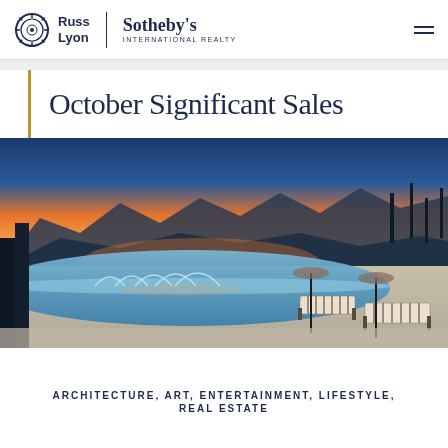Russ Lyon | Sotheby's International Realty
October Significant Sales
[Figure (photo): Luxury infinity pool with lounge chairs at sunset, mountains visible in background, desert landscape]
ARCHITECTURE, ART, ENTERTAINMENT, LIFESTYLE, REAL ESTATE